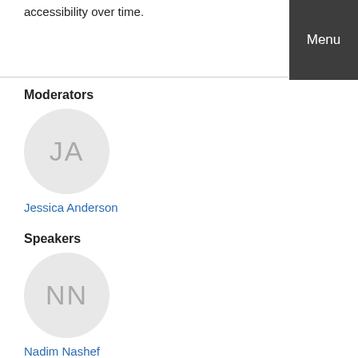accessibility over time.
[Figure (other): Menu button - dark grey rectangle with white text 'Menu']
Moderators
[Figure (other): Circular avatar placeholder with initials JA]
Jessica Anderson
Speakers
[Figure (other): Circular avatar placeholder with initials NN]
Nadim Nashef